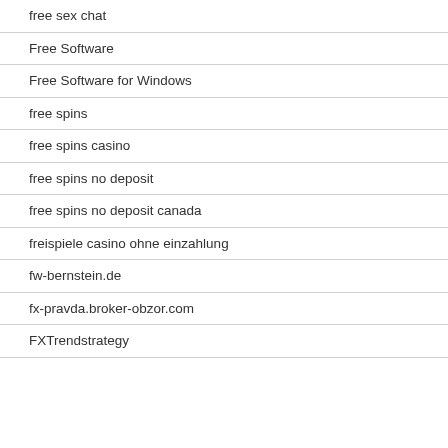free sex chat
Free Software
Free Software for Windows
free spins
free spins casino
free spins no deposit
free spins no deposit canada
freispiele casino ohne einzahlung
fw-bernstein.de
fx-pravda.broker-obzor.com
FXTrendstrategy